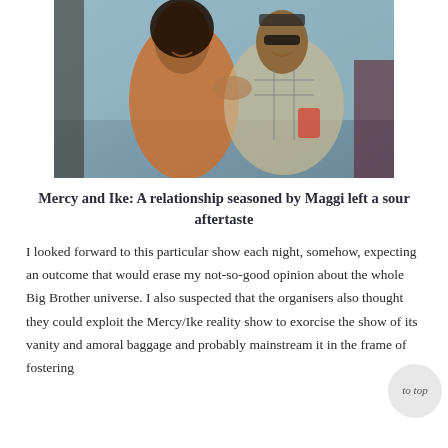[Figure (photo): Two people smiling and laughing together at what appears to be a party or event. A woman in an orange halter top and a man wearing sunglasses and a plaid shirt holding a drink.]
Mercy and Ike: A relationship seasoned by Maggi left a sour aftertaste
I looked forward to this particular show each night, somehow, expecting an outcome that would erase my not-so-good opinion about the whole Big Brother universe. I also suspected that the organisers also thought they could exploit the Mercy/Ike reality show to exorcise the show of its vanity and amoral baggage and probably mainstream it in the frame of fostering